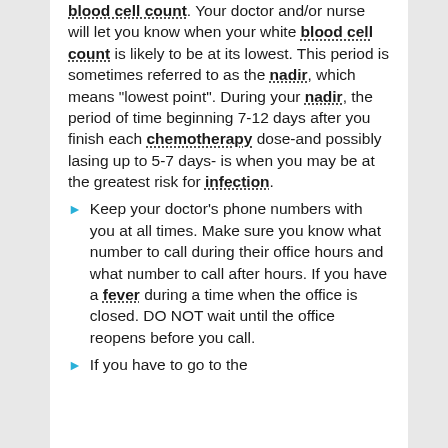blood cell count. Your doctor and/or nurse will let you know when your white blood cell count is likely to be at its lowest. This period is sometimes referred to as the nadir, which means "lowest point". During your nadir, the period of time beginning 7-12 days after you finish each chemotherapy dose-and possibly lasing up to 5-7 days- is when you may be at the greatest risk for infection.
Keep your doctor's phone numbers with you at all times. Make sure you know what number to call during their office hours and what number to call after hours. If you have a fever during a time when the office is closed. DO NOT wait until the office reopens before you call.
If you have to go to the